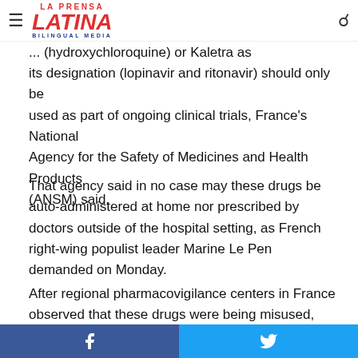La Prensa Latina Bilingual Media
to be efficacious as a treatment representing the Covid-19 disease... (hydroxychloroquine) or Kaletra as its designation (lopinavir and ritonavir) should only be used as part of ongoing clinical trials, France's National Agency for the Safety of Medicines and Health Products (ANSM) said.
That agency said in no case may these drugs be auto-administered at home nor prescribed by doctors outside of the hospital setting, as French right-wing populist leader Marine Le Pen demanded on Monday.
After regional pharmacovigilance centers in France observed that these drugs were being misused, the ANSM decided to alert patients and doctors about side-effects such as dangerous heart problems that may require hospitalization.
Facebook share | Twitter share